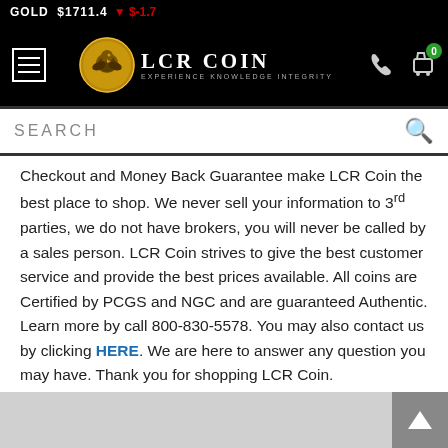GOLD $1711.4 ▼ $-1.7
[Figure (logo): LCR Coin logo with eagle coin and text 'LCR COIN EXPERIENCE KNOWLEDGE INTEGRITY']
SEARCH
Checkout and Money Back Guarantee make LCR Coin the best place to shop. We never sell your information to 3rd parties, we do not have brokers, you will never be called by a sales person. LCR Coin strives to give the best customer service and provide the best prices available. All coins are Certified by PCGS and NGC and are guaranteed Authentic. Learn more by call 800-830-5578. You may also contact us by clicking HERE. We are here to answer any question you may have. Thank you for shopping LCR Coin.